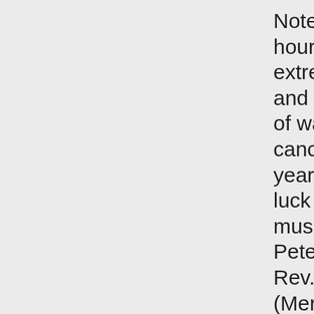Note. Stood in line for hours, got inside, bought extremely expensive drink and found out after an hour of waiting that she cancelled (she was up in years). I had much better luck catching fabulous jazz musicians randomly at St. Peter's Jazz Vespers when Rev. Garcia was around (Mercer Ellington band, Lionel